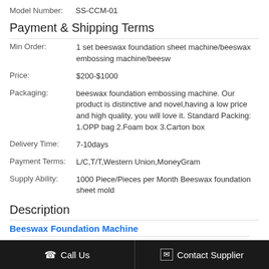Model Number: SS-CCM-01
Payment & Shipping Terms
| Min Order: | 1 set beeswax foundation sheet machine/beeswax embossing machine/beesw |
| Price: | $200-$1000 |
| Packaging: | beeswax foundation embossing machine. Our product is distinctive and novel,having a low price and high quality, you will love it. Standard Packing: 1.OPP bag 2.Foam box 3.Carton box |
| Delivery Time: | 7-10days |
| Payment Terms: | L/C,T/T,Western Union,MoneyGram |
| Supply Ability: | 1000 Piece/Pieces per Month Beeswax foundation sheet mold |
Description
Beeswax Foundation Machine
Name: Beeswax Foundation Machine
Call Us   Contact Supplier